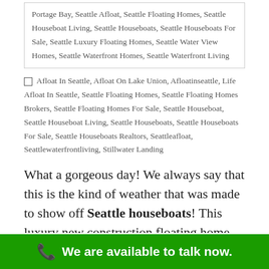Portage Bay, Seattle Afloat, Seattle Floating Homes, Seattle Houseboat Living, Seattle Houseboats, Seattle Houseboats For Sale, Seattle Luxury Floating Homes, Seattle Water View Homes, Seattle Waterfront Homes, Seattle Waterfront Living
Afloat In Seattle, Afloat On Lake Union, Afloatinseattle, Life Afloat In Seattle, Seattle Floating Homes, Seattle Floating Homes Brokers, Seattle Floating Homes For Sale, Seattle Houseboat, Seattle Houseboat Living, Seattle Houseboats, Seattle Houseboats For Sale, Seattle Houseboats Realtors, Seattleafloat, Seattlewaterfrontliving, Stillwater Landing
What a gorgeous day! We always say that this is the kind of weather that was made to show off Seattle houseboats! This luxury new construction floating home build is no exception to that. This is the last floating
We are available to talk now.